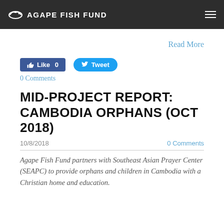AGAPE FISH FUND
Read More
[Figure (other): Facebook Like button showing 0 likes and Twitter Tweet button]
0 Comments
MID-PROJECT REPORT: CAMBODIA ORPHANS (OCT 2018)
10/8/2018
0 Comments
Agape Fish Fund partners with Southeast Asian Prayer Center (SEAPC) to provide orphans and children in Cambodia with a Christian home and education.